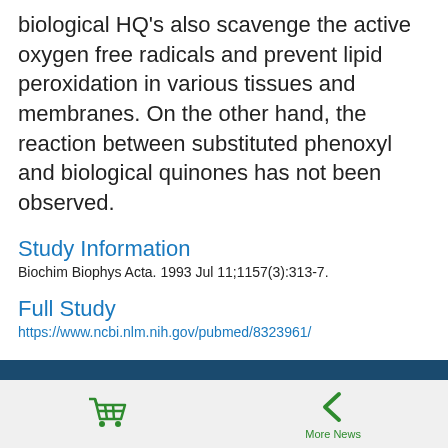biological HQ's also scavenge the active oxygen free radicals and prevent lipid peroxidation in various tissues and membranes. On the other hand, the reaction between substituted phenoxyl and biological quinones has not been observed.
Study Information
Biochim Biophys Acta. 1993 Jul 11;1157(3):313-7.
Full Study
https://www.ncbi.nlm.nih.gov/pubmed/8323961/